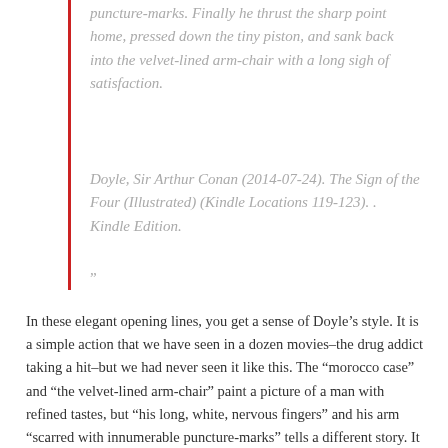puncture-marks. Finally he thrust the sharp point home, pressed down the tiny piston, and sank back into the velvet-lined arm-chair with a long sigh of satisfaction.
Doyle, Sir Arthur Conan (2014-07-24). The Sign of the Four (Illustrated) (Kindle Locations 119-123). . Kindle Edition.
”
In these elegant opening lines, you get a sense of Doyle’s style. It is a simple action that we have seen in a dozen movies–the drug addict taking a hit–but we had never seen it like this. The “morocco case” and “the velvet-lined arm-chair” paint a picture of a man with refined tastes, but “his long, white, nervous fingers” and his arm “scarred with innumerable puncture-marks” tells a different story. It tells of the restlessness he suffers between cases. When Watson chided Holmes for his cocaine habit, Holmes agreed it was a dubious practice, but he complained about having no problem to work on. His mind, he told Watson, requires a problem to solve, and when there was no problem, cocaine eased the restlessness he suffered.